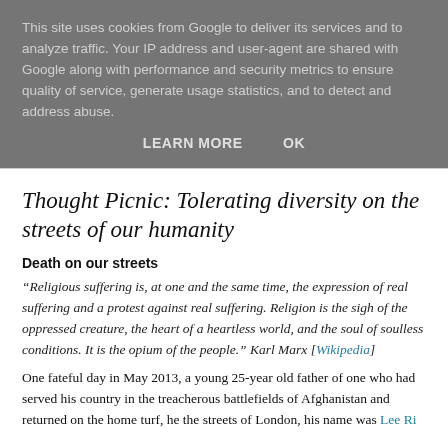This site uses cookies from Google to deliver its services and to analyze traffic. Your IP address and user-agent are shared with Google along with performance and security metrics to ensure quality of service, generate usage statistics, and to detect and address abuse.
LEARN MORE   OK
Thought Picnic: Tolerating diversity on the streets of our humanity
Death on our streets
“Religious suffering is, at one and the same time, the expression of real suffering and a protest against real suffering. Religion is the sigh of the oppressed creature, the heart of a heartless world, and the soul of soulless conditions. It is the opium of the people.” Karl Marx [Wikipedia]
One fateful day in May 2013, a young 25-year old father of one who had served his country in the treacherous battlefields of Afghanistan and returned on the home turf, he the streets of London, his name was Lee Rigby